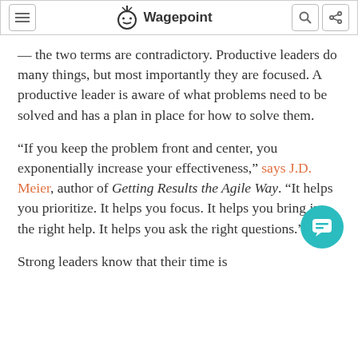Wagepoint
— the two terms are contradictory. Productive leaders do many things, but most importantly they are focused. A productive leader is aware of what problems need to be solved and has a plan in place for how to solve them.
“If you keep the problem front and center, you exponentially increase your effectiveness,” says J.D. Meier, author of Getting Results the Agile Way. “It helps you prioritize. It helps you focus. It helps you bring in the right help. It helps you ask the right questions.”
Strong leaders know that their time is